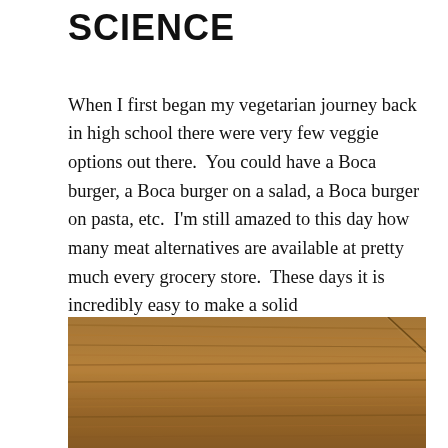SCIENCE
When I first began my vegetarian journey back in high school there were very few veggie options out there. You could have a Boca burger, a Boca burger on a salad, a Boca burger on pasta, etc. I'm still amazed to this day how many meat alternatives are available at pretty much every grocery store. These days it is incredibly easy to make a solid vegetarian/vegan meal that even the most devoted and adamant carnivore can enjoy.
[Figure (photo): Close-up photo of a wooden surface (table or cutting board) with wood grain texture visible, light brown color, photographed from above with a slight diagonal line/seam running through it.]